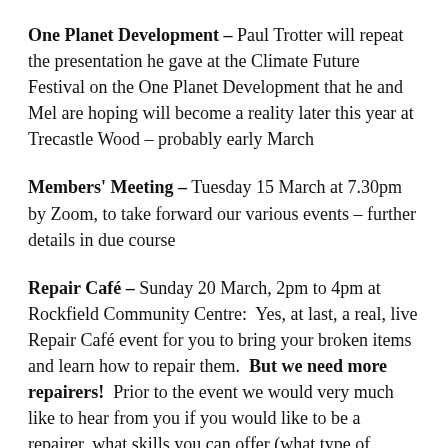One Planet Development – Paul Trotter will repeat the presentation he gave at the Climate Future Festival on the One Planet Development that he and Mel are hoping will become a reality later this year at Trecastle Wood – probably early March
Members' Meeting – Tuesday 15 March at 7.30pm by Zoom, to take forward our various events – further details in due course
Repair Café – Sunday 20 March, 2pm to 4pm at Rockfield Community Centre: Yes, at last, a real, live Repair Café event for you to bring your broken items and learn how to repair them. But we need more repairers! Prior to the event we would very much like to hear from you if you would like to be a repairer, what skills you can offer (what type of